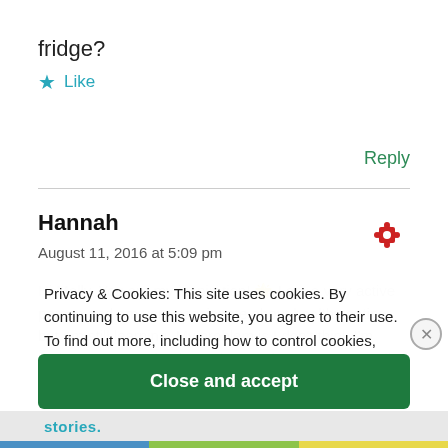fridge?
★ Like
Reply
Hannah
August 11, 2016 at 5:09 pm
Hi Molly. You are my inspiration! 🌟 I am a very active person and am very passionate about healthy eating but am still learning. My problem is I don't think I'm eating ENOUGH food to gain muscle – I'm very small
Privacy & Cookies: This site uses cookies. By continuing to use this website, you agree to their use.
To find out more, including how to control cookies, see here:
Cookie Policy
Close and accept
stories.